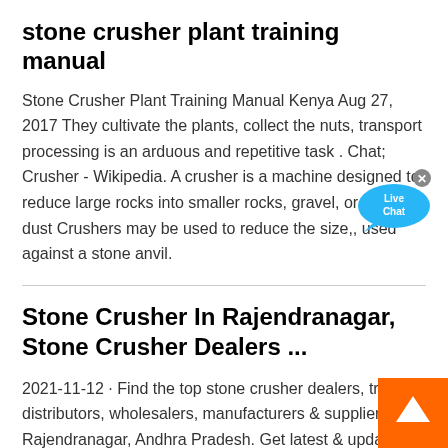stone crusher plant training manual
Stone Crusher Plant Training Manual Kenya Aug 27, 2017 They cultivate the plants, collect the nuts, transport processing is an arduous and repetitive task . Chat; Crusher - Wikipedia. A crusher is a machine designed to reduce large rocks into smaller rocks, gravel, or rock dust Crushers may be used to reduce the size,, used against a stone anvil.
Stone Crusher In Rajendranagar, Stone Crusher Dealers ...
2021-11-12 · Find the top stone crusher dealers, traders, distributors, wholesalers, manufacturers & suppliers in Rajendranagar, Andhra Pradesh. Get latest & updated stone crusher prices in Rajendranagar for your buying